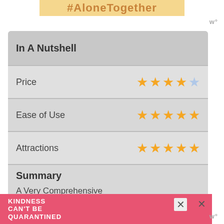#AloneTogether
| Category | Rating |
| --- | --- |
| In A Nutshell |  |
| Price | 4/5 stars |
| Ease of Use | 5/5 stars |
| Attractions | 5/5 stars |
| Summary | 4.7 — A Very Comprehensive pass that covers most of San Diego's best sights and attractions and things |
[Figure (other): Pink advertisement banner reading KINDNESS CAN'T BE QUARANTINED]
w°